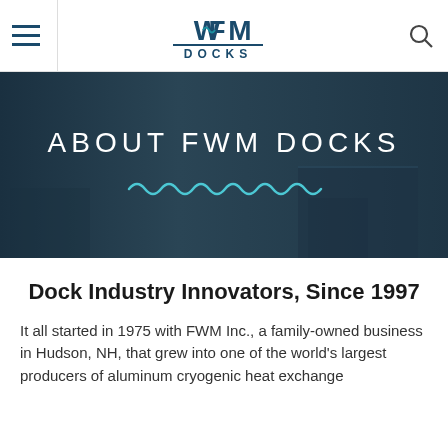FWM DOCKS navigation header with hamburger menu, logo, and search icon
[Figure (screenshot): Dark hero banner with text ABOUT FWM DOCKS and a teal wavy decorative line beneath]
Dock Industry Innovators, Since 1997
It all started in 1975 with FWM Inc., a family-owned business in Hudson, NH, that grew into one of the world's largest producers of aluminum cryogenic heat exchange